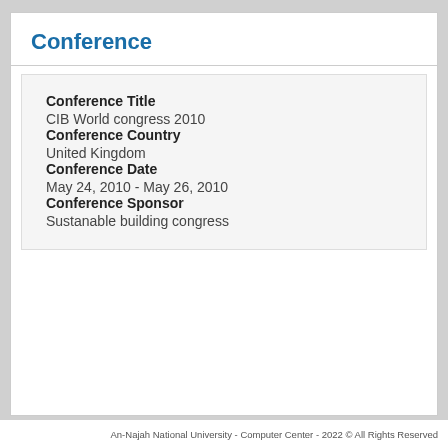Conference
Conference Title
CIB World congress 2010
Conference Country
United Kingdom
Conference Date
May 24, 2010 - May 26, 2010
Conference Sponsor
Sustanable building congress
An-Najah National University - Computer Center - 2022 © All Rights Reserved